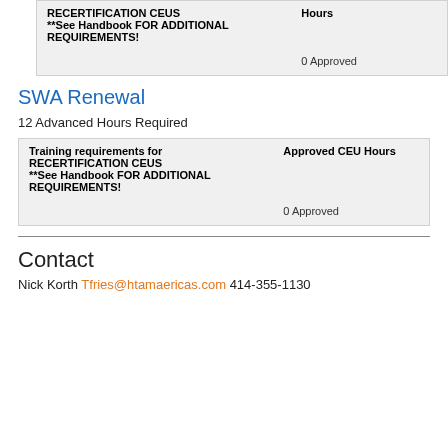| Training requirements for RECERTIFICATION CEUS | Approved CEU Hours |
| --- | --- |
| **See Handbook FOR ADDITIONAL REQUIREMENTS! | 0 Approved |
SWA Renewal
12 Advanced Hours Required
| Training requirements for RECERTIFICATION CEUS | Approved CEU Hours |
| --- | --- |
| **See Handbook FOR ADDITIONAL REQUIREMENTS! | 0 Approved |
Contact
Nick Korth Tfries@htamaericas.com 414-355-1130